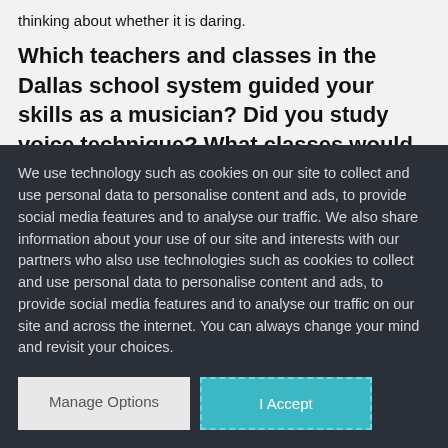thinking about whether it is daring.
Which teachers and classes in the Dallas school system guided your skills as a musician? Did you study voice technique? What classes would you recommend to young aspiring singers who want to become professional vocalists?
We use technology such as cookies on our site to collect and use personal data to personalise content and ads, to provide social media features and to analyse our traffic. We also share information about your use of our site and interests with our partners who also use technologies such as cookies to collect and use personal data to personalise content and ads, to provide social media features and to analyse our traffic on our site and across the internet. You can always change your mind and revisit your choices.